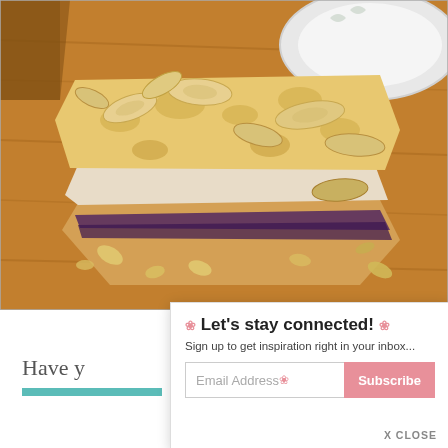[Figure (photo): A slice of almond crumble cake with a dark jam layer in the middle, placed on a wooden surface. Sliced almonds are scattered on top and around the slice. A white plate is visible in the upper right corner.]
Have y
Let's stay connected! Sign up to get inspiration right in your inbox... Email Address Subscribe X CLOSE